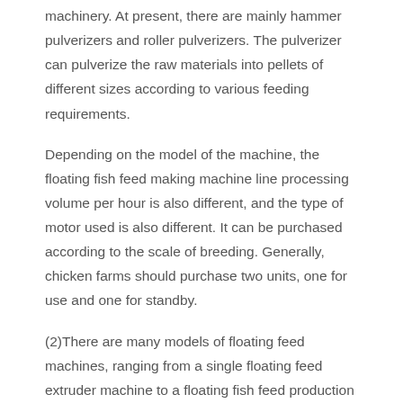machinery. At present, there are mainly hammer pulverizers and roller pulverizers. The pulverizer can pulverize the raw materials into pellets of different sizes according to various feeding requirements.
Depending on the model of the machine, the floating fish feed making machine line processing volume per hour is also different, and the type of motor used is also different. It can be purchased according to the scale of breeding. Generally, chicken farms should purchase two units, one for use and one for standby.
(2)There are many models of floating feed machines, ranging from a single floating feed extruder machine to a floating fish feed production line, with prices ranging from several thousand dollars to ten thousand dollars, as small as two-phase motors.
If you want to build a floating fish feed mill in the coming year, prepare to buy a set of floating fish feed making machines.